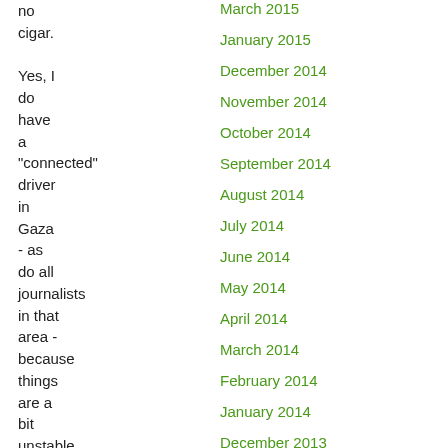no cigar. Yes, I do have a "connected" driver in Gaza - as do all journalists in that area - because things are a bit unstable over there lately.
March 2015
January 2015
December 2014
November 2014
October 2014
September 2014
August 2014
July 2014
June 2014
May 2014
April 2014
March 2014
February 2014
January 2014
December 2013
November 2013